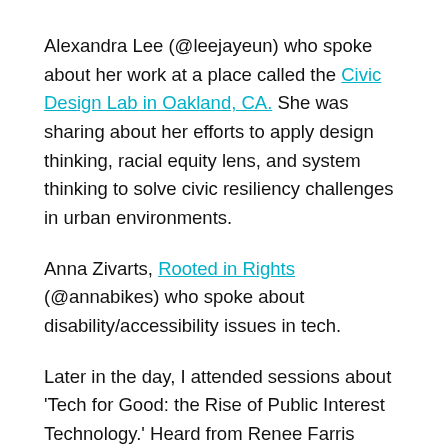Alexandra Lee (@leejayeun) who spoke about her work at a place called the Civic Design Lab in Oakland, CA. She was sharing about her efforts to apply design thinking, racial equity lens, and system thinking to solve civic resiliency challenges in urban environments.
Anna Zivarts, Rooted in Rights (@annabikes) who spoke about disability/accessibility issues in tech.
Later in the day, I attended sessions about 'Tech for Good: the Rise of Public Interest Technology.' Heard from Renee Farris (@farrisra) who works at the Silicon Valley Community Foundation (one of the largest philanthropic institutions in the U.S.). Interesting to hear about their work, and the creative approaches they are